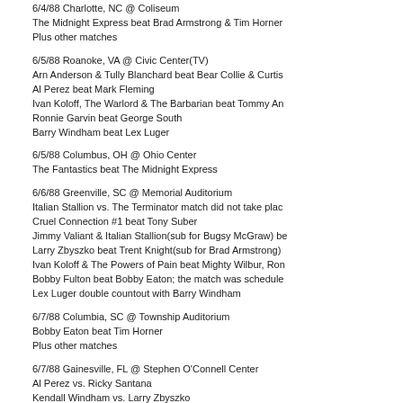6/4/88 Charlotte, NC @ Coliseum
The Midnight Express beat Brad Armstrong & Tim Horner
Plus other matches
6/5/88 Roanoke, VA @ Civic Center(TV)
Arn Anderson & Tully Blanchard beat Bear Collie & Curtis
Al Perez beat Mark Fleming
Ivan Koloff, The Warlord & The Barbarian beat Tommy An
Ronnie Garvin beat George South
Barry Windham beat Lex Luger
6/5/88 Columbus, OH @ Ohio Center
The Fantastics beat The Midnight Express
6/6/88 Greenville, SC @ Memorial Auditorium
Italian Stallion vs. The Terminator match did not take plac
Cruel Connection #1 beat Tony Suber
Jimmy Valiant & Italian Stallion(sub for Bugsy McGraw) be
Larry Zbyszko beat Trent Knight(sub for Brad Armstrong)
Ivan Koloff & The Powers of Pain beat Mighty Wilbur, Ron
Bobby Fulton beat Bobby Eaton; the match was schedule
Lex Luger double countout with Barry Windham
6/7/88 Columbia, SC @ Township Auditorium
Bobby Eaton beat Tim Horner
Plus other matches
6/7/88 Gainesville, FL @ Stephen O'Connell Center
Al Perez vs. Ricky Santana
Kendall Windham vs. Larry Zbyszko
Steve Williams vs. Mike Rotundo
Ronnie Garvin & Jimmy Garvin vs. Kevin Sullivan & Rick
Sting & Nikita Koloff vs. Arn Anderson & Tully Blanchard
Dusty Rhodes & Lex Luger vs. & Barry Windham
6/8/88 Atlanta, GA @ WTBS Studios(TV)
Sting vs. Rick Allen
Barry Windham beat Curtis Thompson(3 AI); winner of the